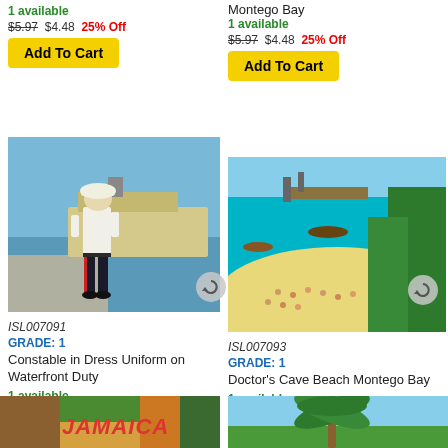1 available
$5.97  $4.48  25% Off
Add To Cart
Montego Bay
1 available
$5.97  $4.48  25% Off
Add To Cart
[Figure (photo): A constable in white dress uniform with pith helmet standing at waterfront duty, with a ship in the background]
[Figure (photo): Aerial view of Doctor's Cave Beach in Montego Bay Jamaica, showing turquoise water, sandy beach crowded with people, and green trees]
ISL007091
GRADE: 1
Constable in Dress Uniform on Waterfront Duty
1 available
$5.97  $4.48  25% Off
Add To Cart
ISL007093
GRADE: 1
Doctor's Cave Beach Montego Bay
1 available
$5.97  $4.48  25% Off
Add To Cart
[Figure (photo): Jamaica postcard collage with JAMAICA text in red]
[Figure (photo): Tropical scene with palm trees and blue sky]